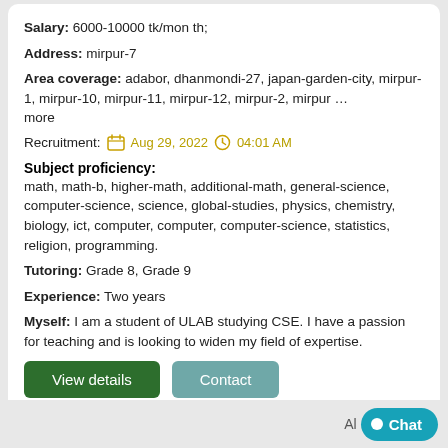Salary: 6000-10000 tk/month;
Address: mirpur-7
Area coverage: adabor, dhanmondi-27, japan-garden-city, mirpur-1, mirpur-10, mirpur-11, mirpur-12, mirpur-2, mirpur ... more
Recruitment: Aug 29, 2022  04:01 AM
Subject proficiency:
math, math-b, higher-math, additional-math, general-science, computer-science, science, global-studies, physics, chemistry, biology, ict, computer, computer, computer-science, statistics, religion, programming.
Tutoring: Grade 8, Grade 9
Experience: Two years
Myself: I am a student of ULAB studying CSE. I have a passion for teaching and is looking to widen my field of expertise.